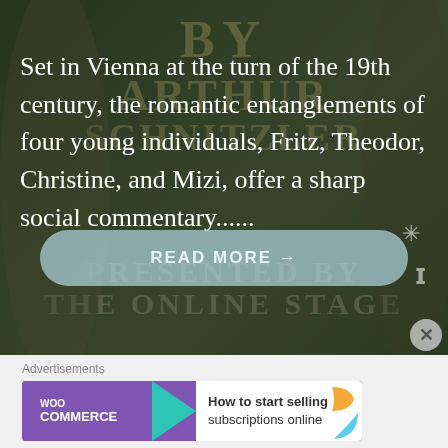[Figure (illustration): Dark theatrical background with period costume figures on left and right sides, overlaid with semi-transparent text 'BY ARTHUR SCHNITZLER PRESENTED BY THE ONLINE STAGE']
Set in Vienna at the turn of the 19th century, the romantic entanglements of four young individuals, Fritz, Theodor, Christine, and Mizi, offer a sharp social commentary......
READ MORE →
Advertisements
[Figure (screenshot): WooCommerce advertisement banner with purple background, WOO COMMERCE logo with teal arrow, and text 'How to start selling subscriptions online' with orange and blue leaf decorations]